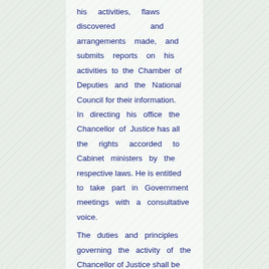his activities, flaws discovered and arrangements made, and submits reports on his activities to the Chamber of Deputies and the National Council for their information. In directing his office the Chancellor of Justice has all the rights accorded to Cabinet ministers by the respective laws. He is entitled to take part in Government meetings with a consultative voice.
The duties and principles governing the activity of the Chancellor of Justice shall be determined by law.
V Chapter.
The Government of the